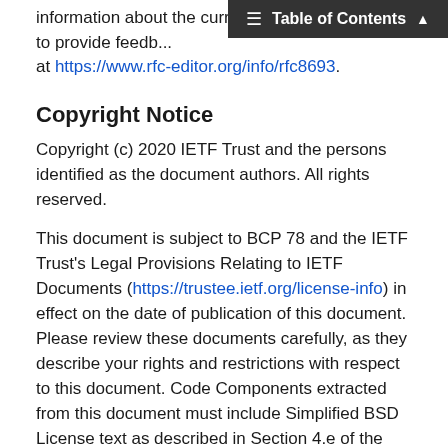Table of Contents
information about the current status, errata, and how to provide feedback on this document. Information is available at https://www.rfc-editor.org/info/rfc8693.
Copyright Notice
Copyright (c) 2020 IETF Trust and the persons identified as the document authors. All rights reserved.
This document is subject to BCP 78 and the IETF Trust's Legal Provisions Relating to IETF Documents (https://trustee.ietf.org/license-info) in effect on the date of publication of this document. Please review these documents carefully, as they describe your rights and restrictions with respect to this document. Code Components extracted from this document must include Simplified BSD License text as described in Section 4.e of the Trust Legal Provisions and are provided without warranty as described in the Simplified BSD License.
1.  Introduction